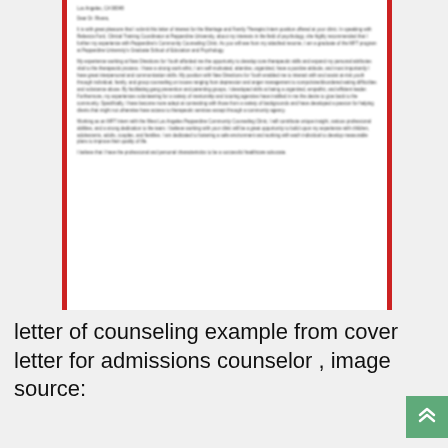[Figure (other): Blurred/redacted cover letter document preview with red left and right borders. The letter is addressed to 'Dear Dr. Rivera' and discusses applying to a Marriage and Family Therapist internship position. Contains multiple paragraphs of body text about therapeutic skills and community counseling experience. Text is intentionally blurred/illegible.]
letter of counseling example from cover letter for admissions counselor , image source: